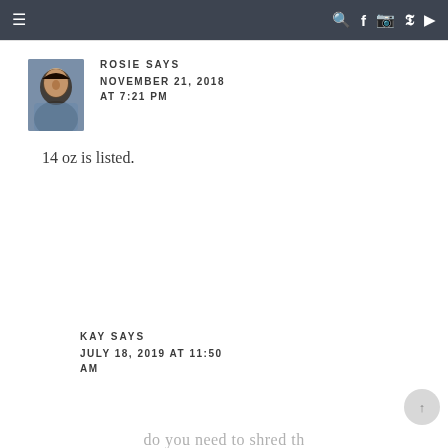≡  🔍 f 📷 𝗽 ▶
ROSIE SAYS
NOVEMBER 21, 2018 AT 7:21 PM
14 oz is listed.
KAY SAYS
JULY 18, 2019 AT 11:50 AM
do you need to shred th